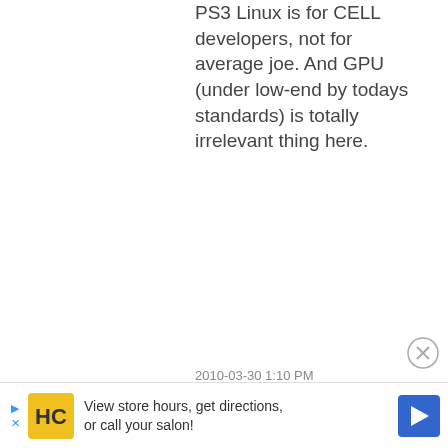PS3 Linux is for CELL developers, not for average joe. And GPU (under low-end by todays standards) is totally irrelevant thing here.
2010-03-30 1:10 PM
Jondice
[Figure (photo): Circular avatar photo of a person outdoors with mountains in background]
Because Sony restricted its access to memory (only half of the available RAM)
This is not true. And actually Linux can use much more memory than GameOS because
View store hours, get directions, or call your salon!